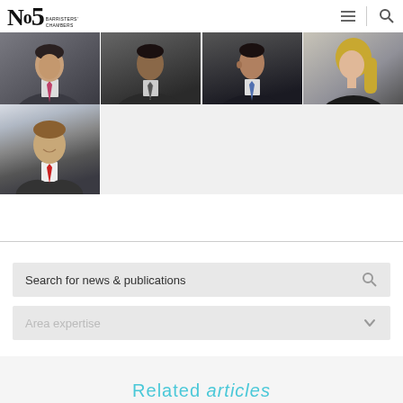No5 Barristers Chambers
[Figure (photo): Grid of 5 professional headshots of barristers in dark suits. Top row: 4 photos side by side (male with red/pink tie, male with patterned tie, male with blue tie, female with blonde hair). Bottom row: 1 photo (male with red tie, arms crossed, smiling).]
Search for news & publications
Area expertise
Related articles